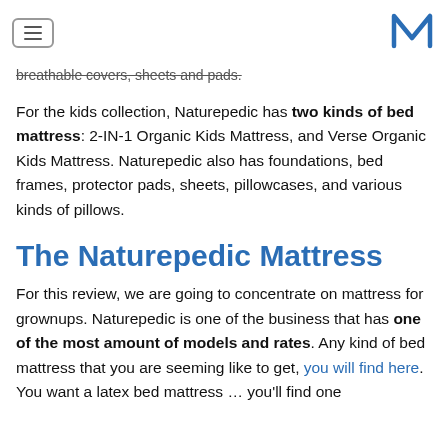[hamburger menu] [M logo]
breathable covers, sheets and pads.
For the kids collection, Naturepedic has two kinds of bed mattress: 2-IN-1 Organic Kids Mattress, and Verse Organic Kids Mattress. Naturepedic also has foundations, bed frames, protector pads, sheets, pillowcases, and various kinds of pillows.
The Naturepedic Mattress
For this review, we are going to concentrate on mattress for grownups. Naturepedic is one of the business that has one of the most amount of models and rates. Any kind of bed mattress that you are seeming like to get, you will find here. You want a latex bed mattress … you'll find one